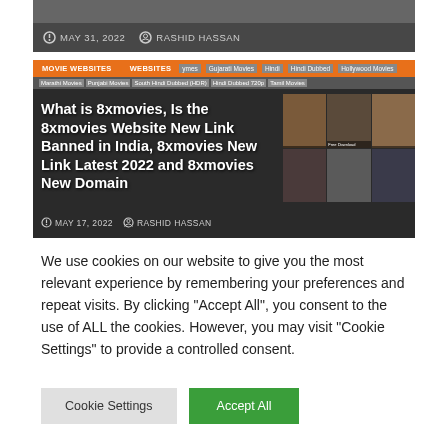[Figure (screenshot): Top partial image strip showing metadata: MAY 31, 2022 and RASHID HASSAN]
[Figure (screenshot): Article thumbnail image for 8xmovies article showing movie website screenshot with orange category tags (MOVIE WEBSITES, WEBSITES), white bold article title, date MAY 17, 2022, author RASHID HASSAN, and movie poster thumbnails on the right]
We use cookies on our website to give you the most relevant experience by remembering your preferences and repeat visits. By clicking "Accept All", you consent to the use of ALL the cookies. However, you may visit "Cookie Settings" to provide a controlled consent.
Cookie Settings
Accept All